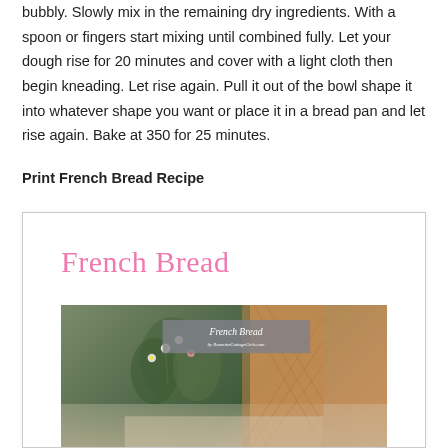bubbly. Slowly mix in the remaining dry ingredients. With a spoon or fingers start mixing until combined fully. Let your dough rise for 20 minutes and cover with a light cloth then begin kneading. Let rise again. Pull it out of the bowl shape it into whatever shape you want or place it in a bread pan and let rise again. Bake at 350 for 25 minutes.
Print French Bread Recipe
[Figure (other): Recipe card for French Bread with pink script title 'French Bread' and a photo of bread on a table with flowers and a wicker chair background, overlaid with a gray banner reading 'French Bread by RoamineCottageGirls.com']